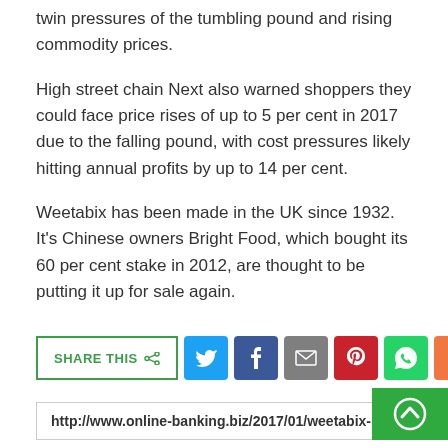twin pressures of the tumbling pound and rising commodity prices.
High street chain Next also warned shoppers they could face price rises of up to 5 per cent in 2017 due to the falling pound, with cost pressures likely hitting annual profits by up to 14 per cent.
Weetabix has been made in the UK since 1932. It's Chinese owners Bright Food, which bought its 60 per cent stake in 2012, are thought to be putting it up for sale again.
SHARE THIS [social icons: Twitter, Facebook, Email, Pinterest, WhatsApp, More]
http://www.online-banking.biz/2017/01/weetabix-love